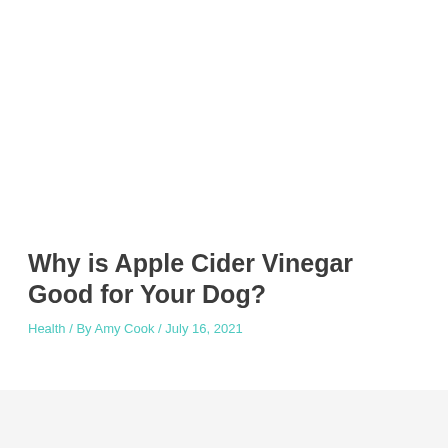Why is Apple Cider Vinegar Good for Your Dog?
Health / By Amy Cook / July 16, 2021